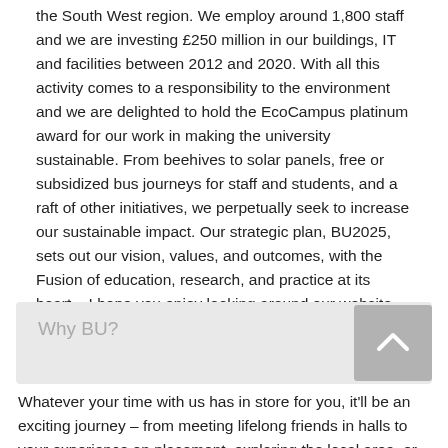the South West region. We employ around 1,800 staff and we are investing £250 million in our buildings, IT and facilities between 2012 and 2020. With all this activity comes to a responsibility to the environment and we are delighted to hold the EcoCampus platinum award for our work in making the university sustainable. From beehives to solar panels, free or subsidized bus journeys for staff and students, and a raft of other initiatives, we perpetually seek to increase our sustainable impact. Our strategic plan, BU2025, sets out our vision, values, and outcomes, with the Fusion of education, research, and practice at its heart.   I hope you enjoy looking around our website, which gives a flavor of life here at Bournemouth University. I would encourage you to get in touch or come and visit us if you would like to find out more.
Why BU?
Whatever your time with us has in store for you, it'll be an exciting journey – from meeting lifelong friends in halls to your experience on placement, exploring the local area, or joining a club or society.